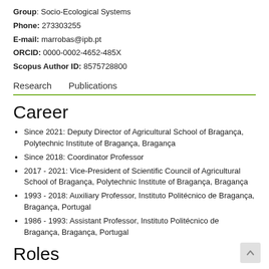Group: Socio-Ecological Systems
Phone: 273303255
E-mail: marrobas@ipb.pt
ORCID: 0000-0002-4652-485X
Scopus Author ID: 8575728800
Research    Publications
Career
Since 2021: Deputy Director of Agricultural School of Bragança, Polytechnic Institute of Bragança, Bragança
Since 2018: Coordinator Professor
2017 - 2021: Vice-President of Scientific Council of Agricultural School of Bragança, Polytechnic Institute of Bragança, Bragança
1993 - 2018: Auxiliary Professor, Instituto Politécnico de Bragança, Bragança, Portugal
1986 - 1993: Assistant Professor, Instituto Politécnico de Bragança, Bragança, Portugal
Roles